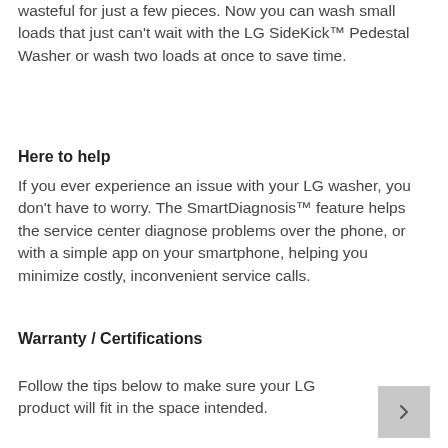wasteful for just a few pieces. Now you can wash small loads that just can't wait with the LG SideKick™ Pedestal Washer or wash two loads at once to save time.
Here to help
If you ever experience an issue with your LG washer, you don't have to worry. The SmartDiagnosis™ feature helps the service center diagnose problems over the phone, or with a simple app on your smartphone, helping you minimize costly, inconvenient service calls.
Warranty / Certifications
Follow the tips below to make sure your LG product will fit in the space intended.